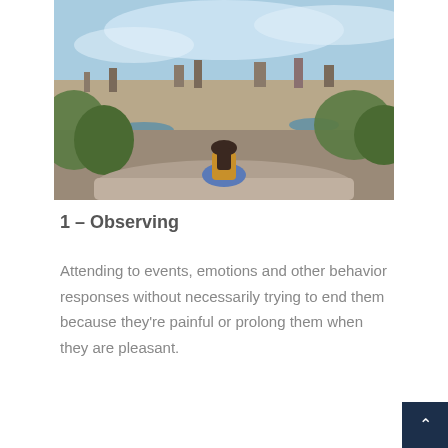[Figure (photo): A woman with long hair sitting on a rock ledge in a mustard yellow top and blue jeans, viewed from behind, overlooking a vast panoramic cityscape under a blue cloudy sky.]
1 – Observing
Attending to events, emotions and other behavior responses without necessarily trying to end them because they're painful or prolong them when they are pleasant.